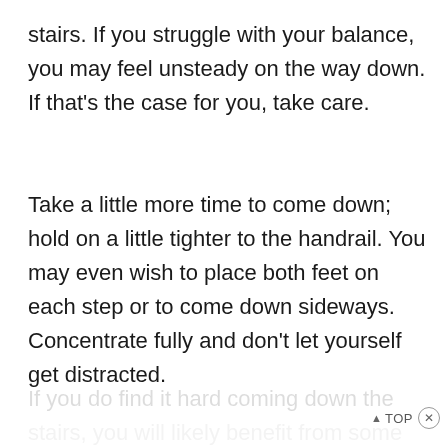stairs. If you struggle with your balance, you may feel unsteady on the way down. If that's the case for you, take care.
Take a little more time to come down; hold on a little tighter to the handrail. You may even wish to place both feet on each step or to come down sideways. Concentrate fully and don't let yourself get distracted.
If you do find it hard coming down the stairs, you will likely benefit from some additional strength and balance exercises.